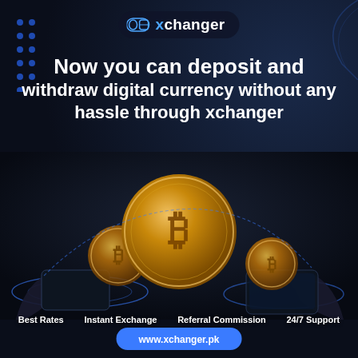[Figure (logo): xchanger logo with coin icon on dark rounded pill background]
Now you can deposit and withdraw digital currency without any hassle through xchanger
[Figure (illustration): Two hands holding smartphones with glowing holographic interfaces, with multiple Bitcoin gold coins floating in the center, large Bitcoin coin in the middle and smaller coins to the sides, on a dark tech background]
Best Rates
Instant Exchange
Referral Commission
24/7 Support
www.xchanger.pk